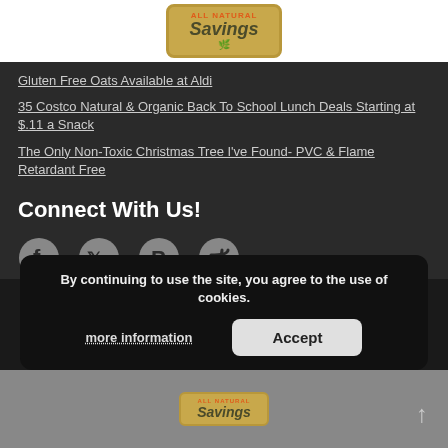[Figure (logo): All Natural Savings logo - tan/gold box with orange text 'ALL NATURAL' and dark italic 'Savings' with green leaves]
Gluten Free Oats Available at Aldi
35 Costco Natural & Organic Back To School Lunch Deals Starting at $.11 a Snack
The Only Non-Toxic Christmas Tree I've Found- PVC & Flame Retardant Free
Connect With Us!
[Figure (illustration): Social media icons: Facebook, Twitter, Pinterest, RSS feed - all in gray]
By continuing to use the site, you agree to the use of cookies.
more information
Accept
[Figure (logo): All Natural Savings logo repeated at bottom of page, partially visible]